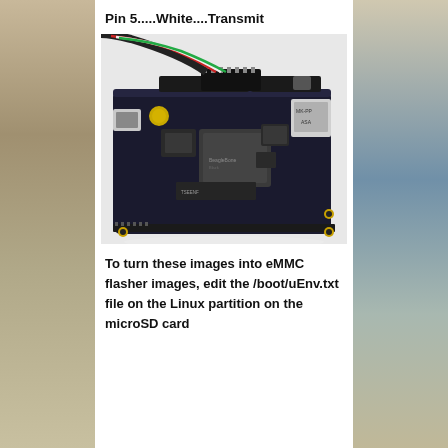Pin 5.....White....Transmit
[Figure (photo): BeagleBone Black single-board computer with colored wires (black, red, green, white) connected to the header pins, USB port visible on left, Ethernet port on right, sitting on white surface.]
To turn these images into eMMC flasher images, edit the /boot/uEnv.txt file on the Linux partition on the microSD card